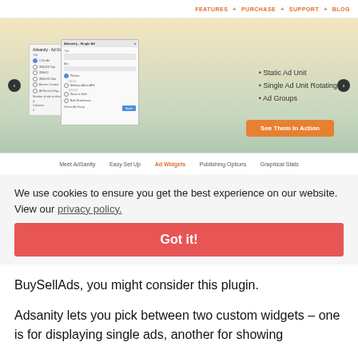[Figure (screenshot): Screenshot of AdSanity WordPress plugin website showing hero slider with dialog boxes, feature bullet points (Static Ad Unit, Single Ad Unit Rotating, Ad Groups), an orange 'See Them In Action' button, and navigation tabs including Meet AdSanity, Easy Set Up, Ad Widgets (active/orange), Publishing Options, Graphical Stats]
We use cookies to ensure you get the best experience on our website. View our privacy policy.
Got it!
BuySellAds, you might consider this plugin.
Adsanity lets you pick between two custom widgets – one is for displaying single ads, another for showing